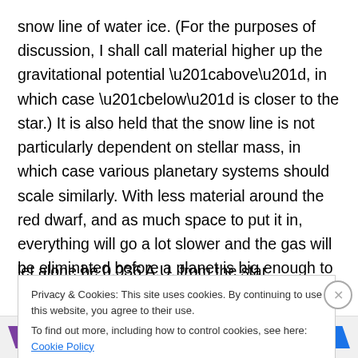snow line of water ice. (For the purposes of discussion, I shall call material higher up the gravitational potential “above”, in which case “below” is closer to the star.) It is also held that the snow line is not particularly dependent on stellar mass, in which case various planetary systems should scale similarly. With less material around the red dwarf, and as much space to put it in, everything will go a lot slower and the gas will be eliminated before a planet is big enough to handle it. Accordingly, it seems that according to standard theory, this planet should not form, let alone be 0.036 A.U. from the star.
Privacy & Cookies: This site uses cookies. By continuing to use this website, you agree to their use.
To find out more, including how to control cookies, see here: Cookie Policy
Close and accept